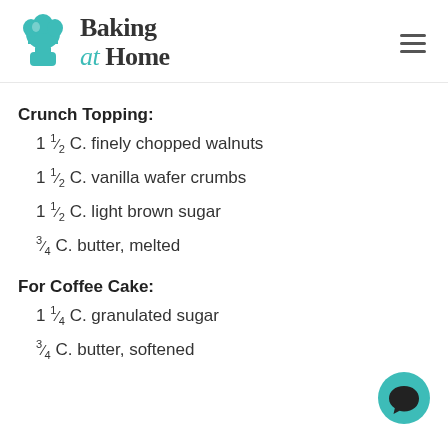[Figure (logo): Baking at Home logo with teal chef hat and stand mixer icon, bold serif text]
Crunch Topping:
1 1/2 C. finely chopped walnuts
1 1/2 C. vanilla wafer crumbs
1 1/2 C. light brown sugar
3/4 C. butter, melted
For Coffee Cake:
1 1/4 C. granulated sugar
3/4 C. butter, softened